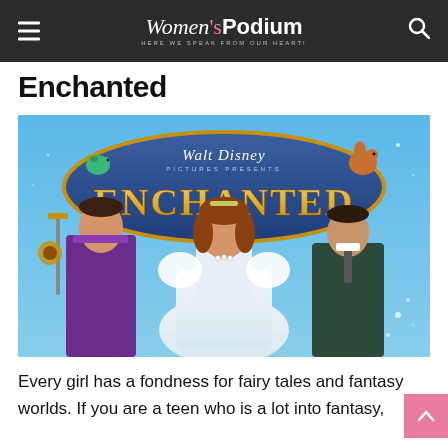Women's Podium — HERE WE SPEAK FROM OUR HEART!
Enchanted
[Figure (photo): Walt Disney Pictures Presents Enchanted movie poster showing the lead actress in a white princess gown flanked by two male characters, with animated characters and a blue oval logo above.]
Every girl has a fondness for fairy tales and fantasy worlds. If you are a teen who is a lot into fantasy,